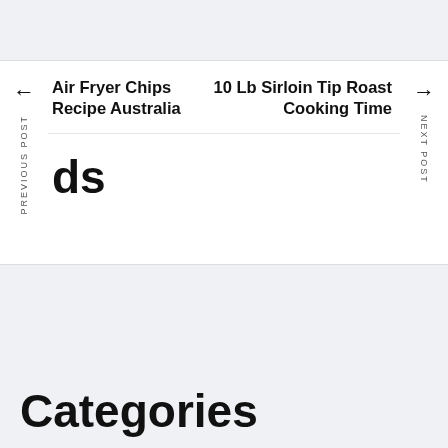← PREVIOUS POST | Air Fryer Chips Recipe Australia
→ NEXT POST | 10 Lb Sirloin Tip Roast Cooking Time
ds
Categories